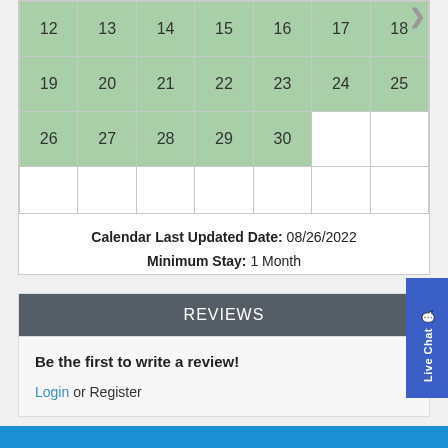| 12 | 13 | 14 | 15 | 16 | 17 | 18 |
| 19 | 20 | 21 | 22 | 23 | 24 | 25 |
| 26 | 27 | 28 | 29 | 30 |  |  |
|  |  |  |  |  |  |  |
Calendar Last Updated Date: 08/26/2022
Minimum Stay: 1 Month
REVIEWS
Be the first to write a review!
Login or Register